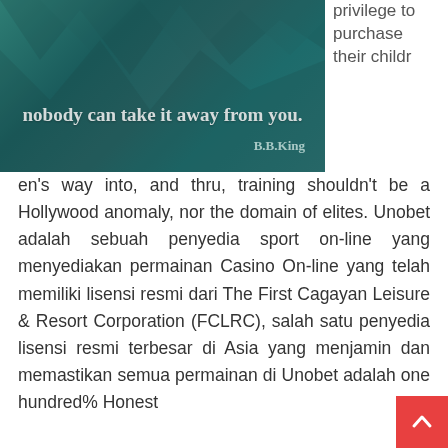[Figure (illustration): Inspirational quote image on teal geometric background reading 'nobody can take it away from you.' attributed to B.B.King]
privilege to purchase their children's way into, and thru, training shouldn't be a Hollywood anomaly, nor the domain of elites. Unobet adalah sebuah penyedia sport on-line yang menyediakan permainan Casino On-line yang telah memiliki lisensi resmi dari The First Cagayan Leisure & Resort Corporation (FCLRC), salah satu penyedia lisensi resmi terbesar di Asia yang menjamin dan memastikan semua permainan di Unobet adalah one hundred% Honest